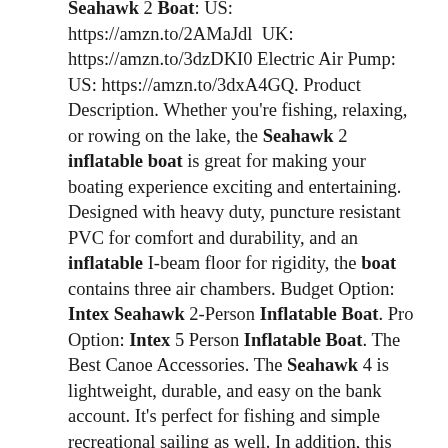Seahawk 2 Boat: US: https://amzn.to/2AMaJdl UK: https://amzn.to/3dzDKI0 Electric Air Pump: US: https://amzn.to/3dxA4GQ. Product Description. Whether you're fishing, relaxing, or rowing on the lake, the Seahawk 2 inflatable boat is great for making your boating experience exciting and entertaining. Designed with heavy duty, puncture resistant PVC for comfort and durability, and an inflatable I-beam floor for rigidity, the boat contains three air chambers. Budget Option: Intex Seahawk 2-Person Inflatable Boat. Pro Option: Intex 5 Person Inflatable Boat. The Best Canoe Accessories. The Seahawk 4 is lightweight, durable, and easy on the bank account. It's perfect for fishing and simple recreational sailing as well. In addition, this inflatable fishing boat could hold up to four people, but that won't exactly be conducive to fishing. Let's take a